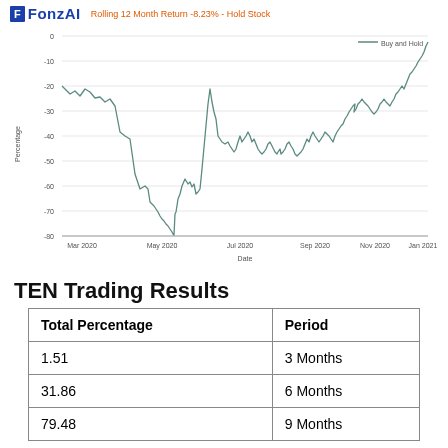FonzAI — Rolling 12 Month Return -8.23% - Hold Stock
[Figure (continuous-plot): Line chart showing rolling 12-month return (Buy and Hold) over time from Mar 2020 to Jan 2021. The line starts around -20%, drops to a trough near -80% around Apr-May 2020, then recovers through the rest of 2020, ending near -10% in Jan 2021. Y-axis labeled 'Percentage' ranges from -80 to 0. X-axis labeled 'Date' shows months from Mar 2020 to Jan 2021.]
TEN Trading Results
| Total Percentage | Period |
| --- | --- |
| 1.51 | 3 Months |
| 31.86 | 6 Months |
| 79.48 | 9 Months |